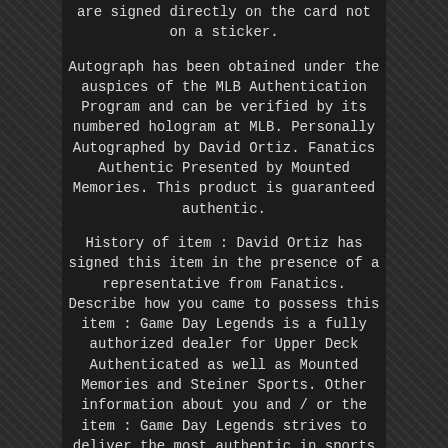are signed directly on the card not on a sticker.
Autograph has been obtained under the auspices of the MLB Authentication Program and can be verified by its numbered hologram at MLB. Personally Autographed by David Ortiz. Fanatics Authentic Presented by Mounted Memories. This product is guaranteed authentic.
History of item : David Ortiz has signed this item in the presence of a representative from Fanatics. Describe how you came to possess this item : Game Day Legends is a fully authorized dealer for Upper Deck Authenticated as well as Mounted Memories and Steiner Sports. Other information about you and / or the item : Game Day Legends strives to deliver the most authentic in sports memorabilia from trusted companies like Mounted Memories, Steiner Sports and Upper Deck Authenticated. If it exists, we can find it for you! Game Day Legends is your online source for signed sports memorabilia from Michael Jordan, LeBron James, Peyton Manning, Kobe Bryant and